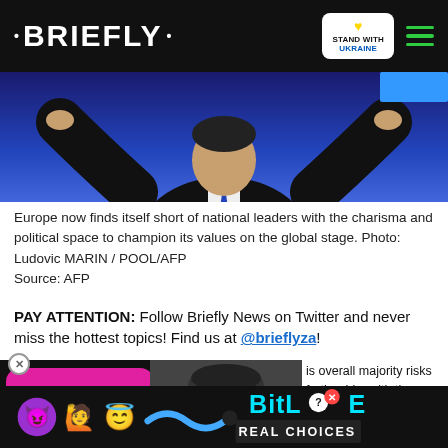• BRIEFLY •  [STAND WITH UKRAINE]
[Figure (photo): Person in dark suit on stage with blue/purple background, arms outstretched]
Europe now finds itself short of national leaders with the charisma and political space to champion its values on the global stage. Photo: Ludovic MARIN / POOL/AFP
Source: AFP
PAY ATTENTION: Follow Briefly News on Twitter and never miss the hottest topics! Find us at @brieflyza!
[Figure (screenshot): Video thumbnail: pink bubble with '30 YEARS LATER THE SAME TRAGEDY' text overlay, person's face on right, red play button at bottom]
is overall majority risks further hip, with the French leader set roubles even while retaining
[Figure (infographic): BitLife advertisement banner with emoji characters (devil, person, angel), BitLife logo and 'REAL CHOICES' text]